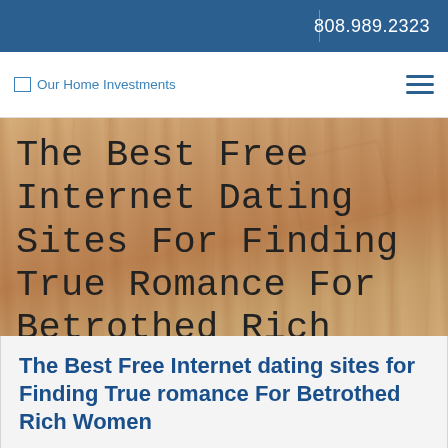808.989.2323
[Figure (logo): Our Home Investments logo with placeholder image icon and text link]
[Figure (photo): Wooden background hero image with large serif/typewriter font overlay text reading: The Best Free Internet Dating Sites For Finding True Romance For Betrothed Rich Women]
The Best Free Internet dating sites for Finding True romance For Betrothed Rich Women